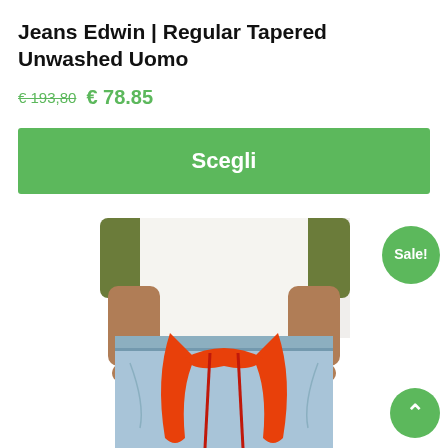Jeans Edwin | Regular Tapered Unwashed Uomo
€ 193,80  € 78.85
Scegli
[Figure (photo): Product photo of Edwin jeans worn by a man, shown from chest down, light blue denim with large orange graphic on the front. A green 'Sale!' badge is visible in the upper right of the image.]